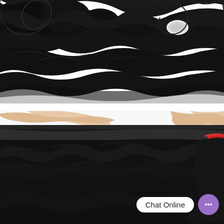[Figure (photo): Close-up photo of dark black wavy/curly hair extensions laid flat on a white background, with a small white clip visible near the top right]
[Figure (photo): Photo of a person holding up a weft of dark black wavy hair extensions against a white background; a hand with a red bracelet is visible on the right side holding the hair weft]
Chat Online